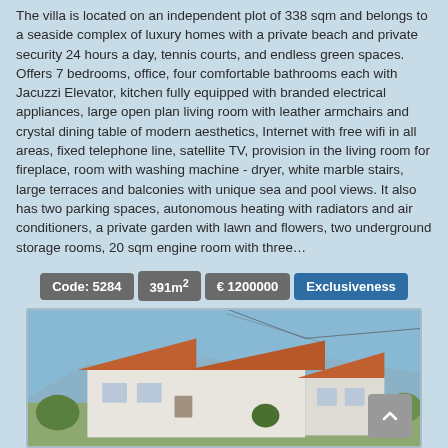The villa is located on an independent plot of 338 sqm and belongs to a seaside complex of luxury homes with a private beach and private security 24 hours a day, tennis courts, and endless green spaces. Offers 7 bedrooms, office, four comfortable bathrooms each with Jacuzzi Elevator, kitchen fully equipped with branded electrical appliances, large open plan living room with leather armchairs and crystal dining table of modern aesthetics, Internet with free wifi in all areas, fixed telephone line, satellite TV, provision in the living room for fireplace, room with washing machine - dryer, white marble stairs, large terraces and balconies with unique sea and pool views. It also has two parking spaces, autonomous heating with radiators and air conditioners, a private garden with lawn and flowers, two underground storage rooms, 20 sqm engine room with three…
Code: 5284
391m²
€ 1200000
Exclusiveness
[Figure (photo): Exterior photo of a white villa with terracotta tile roof, clear blue sky, power lines visible, greenery in foreground and background, mountains in distance.]